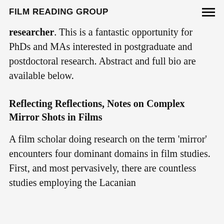FILM READING GROUP
researcher.  This is a fantastic opportunity for PhDs and MAs interested in postgraduate and postdoctoral research.  Abstract and full bio are available below.
Reflecting Reflections, Notes on Complex Mirror Shots in Films
A film scholar doing research on the term 'mirror' encounters four dominant domains in film studies. First, and most pervasively, there are countless studies employing the Lacanian